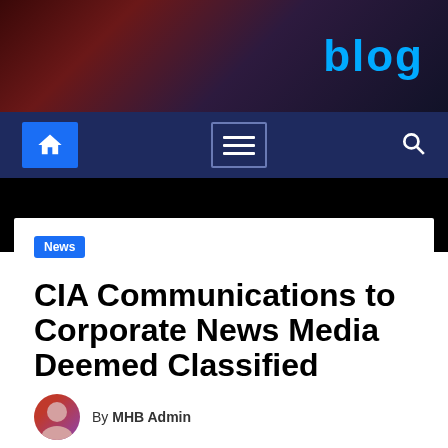blog
[Figure (screenshot): Website navigation bar with home icon, hamburger menu, and search icon on dark blue background]
News
CIA Communications to Corporate News Media Deemed Classified
By MHB Admin